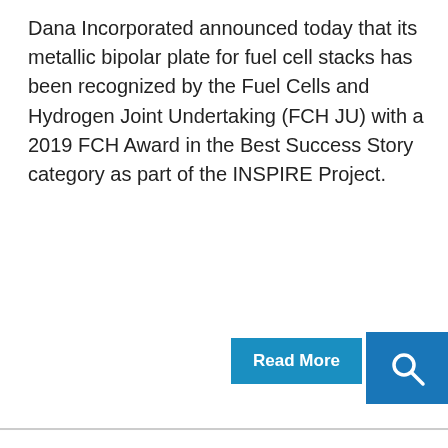Dana Incorporated announced today that its metallic bipolar plate for fuel cell stacks has been recognized by the Fuel Cells and Hydrogen Joint Undertaking (FCH JU) with a 2019 FCH Award in the Best Success Story category as part of the INSPIRE Project.
[Figure (screenshot): Cookie consent banner overlay on webpage with title 'We use cookies and other technologies', body text about cookies policy, a blue 'I agree' button, and a 'More information' text link]